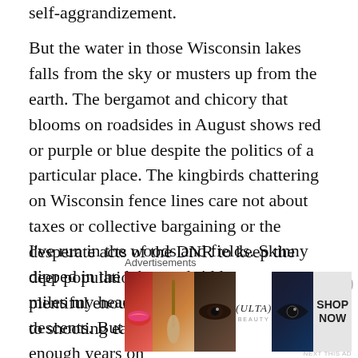self-aggrandizement.
But the water in those Wisconsin lakes falls from the sky or musters up from the earth. The bergamot and chicory that blooms on roadsides in August shows red or purple or blue despite the politics of a particular place. The kingbirds chattering on Wisconsin fence lines care not about taxes or collective bargaining or the desperate acts of the DNR to keep the deer population both under control yet plentiful enough that hunters don’t resort to shooting each other during the fall.
I’ve run in the woods and fields. Skinny dipped in the lakes and ridden so many miles my head spun from the climbs and descents. But most of all I’ve spent enough years on
Advertisements
[Figure (screenshot): ULTA beauty advertisement banner showing makeup images (lips with lipstick, makeup brush, eye makeup, ULTA logo, dramatic eye makeup) and SHOP NOW call to action]